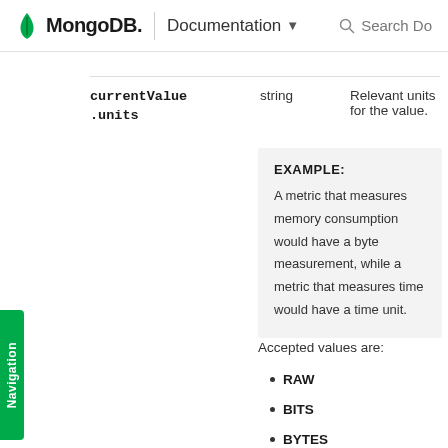MongoDB. | Documentation  Search Do
| Field | Type | Description |
| --- | --- | --- |
| currentValue.units | string | Relevant units for the value. |
EXAMPLE: A metric that measures memory consumption would have a byte measurement, while a metric that measures time would have a time unit.
Accepted values are:
RAW
BITS
BYTES